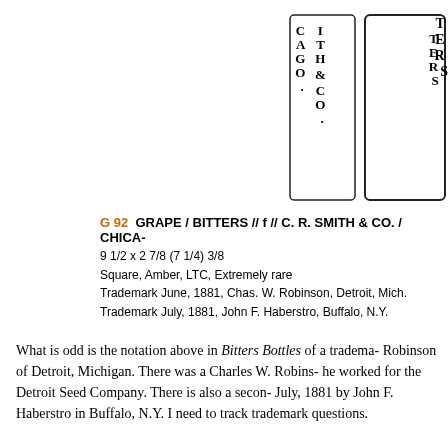[Figure (illustration): Illustration of a bottle with text reading GRAPE BITTERS and C.R. SMITH & CO. / CHICAGO. on the side panels, shown from two angles — a front view showing embossed vertical text and a side panel view of the rectangular bottle outline.]
G 92  GRAPE / BITTERS // f // C. R. SMITH & CO. / CHICA-
9 1/2 x 2 7/8 (7 1/4) 3/8
Square, Amber, LTC, Extremely rare
Trademark June, 1881, Chas. W. Robinson, Detroit, Mich.
Trademark July, 1881, John F. Haberstro, Buffalo, N.Y.
What is odd is the notation above in Bitters Bottles of a trademark Robinson of Detroit, Michigan. There was a Charles W. Robinson he worked for the Detroit Seed Company. There is also a second July, 1881 by John F. Haberstro in Buffalo, N.Y. I need to track trademark questions.